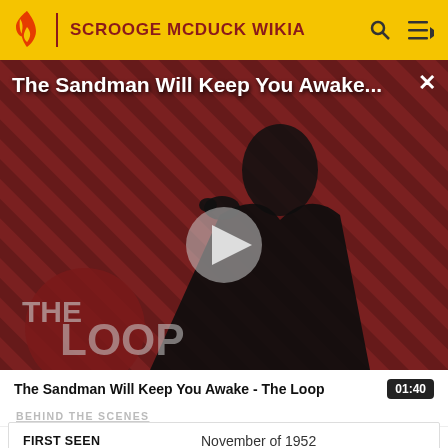SCROOGE MCDUCK WIKIA
[Figure (screenshot): Video thumbnail for 'The Sandman Will Keep You Awake - The Loop' showing a dark-robed figure against a red diagonal striped background with The Loop logo and a play button overlay.]
The Sandman Will Keep You Awake - The Loop  01:40
BEHIND THE SCENES
| FIRST SEEN |  |
| --- | --- |
| FIRST SEEN | November of 1952 |